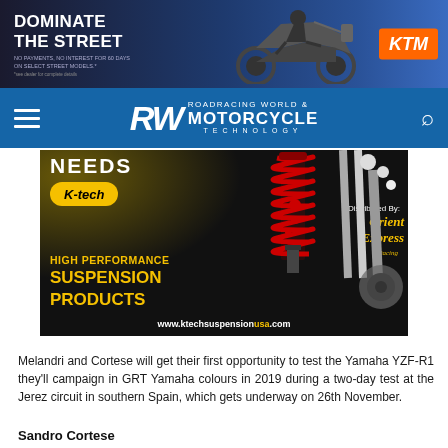[Figure (photo): KTM advertisement banner: 'Dominate the Street' with motorcycle silhouette, KTM logo in orange]
RW ROADRACING WORLD & MOTORCYCLE TECHNOLOGY
[Figure (photo): K-tech High Performance Suspension Products advertisement with red coilover spring, distributed by Orient Express, www.ktechsuspensionusa.com]
Melandri and Cortese will get their first opportunity to test the Yamaha YZF-R1 they'll campaign in GRT Yamaha colours in 2019 during a two-day test at the Jerez circuit in southern Spain, which gets underway on 26th November.
Sandro Cortese